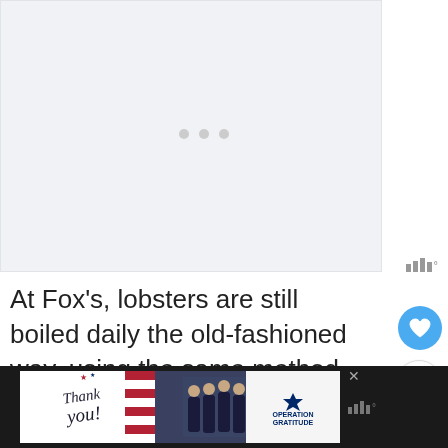[Figure (photo): Loading placeholder box with three grey dots indicating an image is loading]
At Fox's, lobsters are still boiled daily the old-fashioned way, using the same method since the 1930s.
[Figure (photo): Advertisement banner: 'Thank you!' handwritten text with American flag design, firefighters photo, and Operation Gratitude logo on dark background]